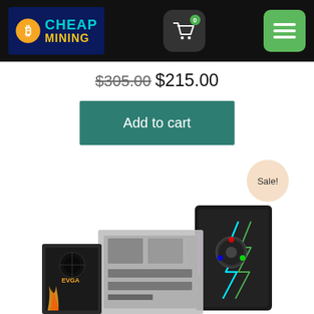[Figure (logo): Cheap Mining website logo with Bitcoin symbol on dark navy background, cyan CHEAP text and yellow MINING text]
[Figure (screenshot): Shopping cart icon button with badge showing 0]
[Figure (screenshot): Green hamburger menu button with three white lines]
$305.00 $215.00
Add to cart
Sale!
[Figure (photo): Product photo showing a PC motherboard, power supply, CPU cooler with RGB fan, and a black gaming PC tower case with RGB lighting and lightning bolt design]